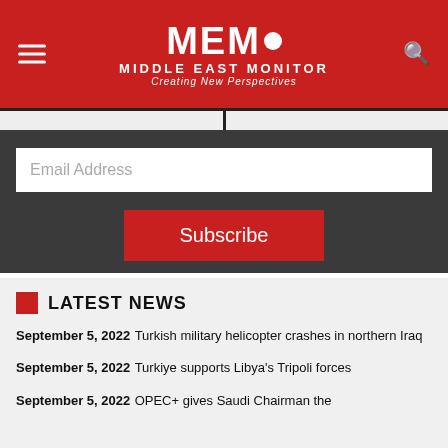MEMO MIDDLE EAST MONITOR — Creating New Perspectives
Email Address
Subscribe
LATEST NEWS
September 5, 2022 Turkish military helicopter crashes in northern Iraq
September 5, 2022 Turkiye supports Libya's Tripoli forces
September 5, 2022 OPEC+ gives Saudi Chairman the